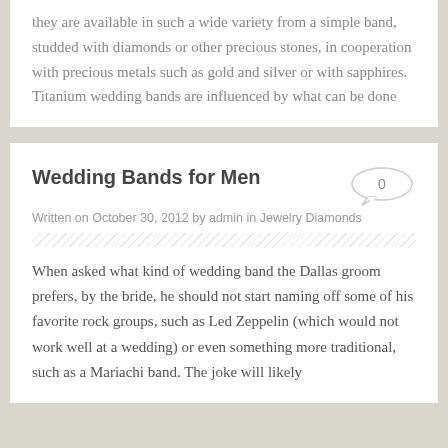they are available in such a wide variety from a simple band, studded with diamonds or other precious stones, in cooperation with precious metals such as gold and silver or with sapphires. Titanium wedding bands are influenced by what can be done
Wedding Bands for Men
Written on October 30, 2012 by admin in Jewelry Diamonds
When asked what kind of wedding band the Dallas groom prefers, by the bride, he should not start naming off some of his favorite rock groups, such as Led Zeppelin (which would not work well at a wedding) or even something more traditional, such as a Mariachi band. The joke will likely